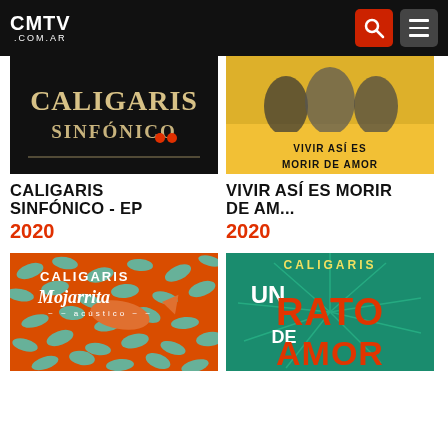CMTV .COM.AR
[Figure (illustration): Caligaris Sinfónico EP album cover - dark background with stylized text]
CALIGARIS SINFÓNICO - EP
2020
[Figure (illustration): Vivir así es morir de amor album cover - yellow/orange background with band photo and text]
VIVIR ASÍ ES MORIR DE AM...
2020
[Figure (illustration): Caligaris Mojarrita Acústico album cover - orange background with fish illustration]
[Figure (illustration): Caligaris Un Rato de Amor Acústico album cover - teal background with large orange lettering]